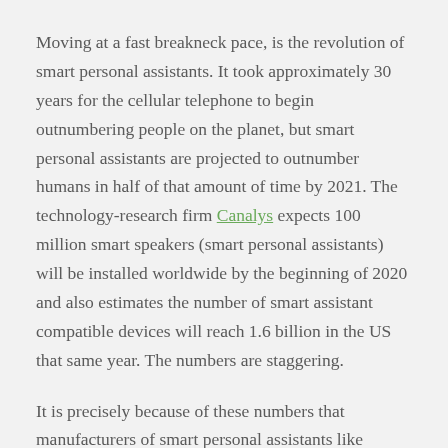Moving at a fast breakneck pace, is the revolution of smart personal assistants. It took approximately 30 years for the cellular telephone to begin outnumbering people on the planet, but smart personal assistants are projected to outnumber humans in half of that amount of time by 2021. The technology-research firm Canalys expects 100 million smart speakers (smart personal assistants) will be installed worldwide by the beginning of 2020 and also estimates the number of smart assistant compatible devices will reach 1.6 billion in the US that same year. The numbers are staggering.
It is precisely because of these numbers that manufacturers of smart personal assistants like